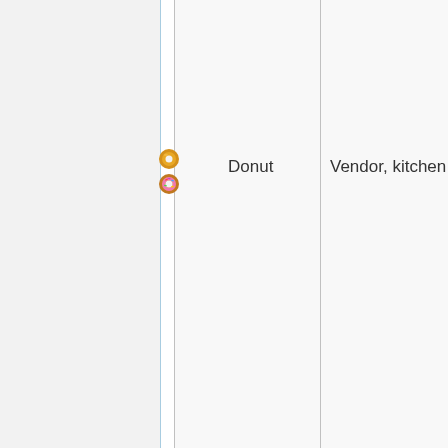[Figure (illustration): Two small pixel-art donut icons stacked vertically — top one is golden/orange colored, bottom one is pink with colorful sprinkles.]
Donut
Vendor, kitchen